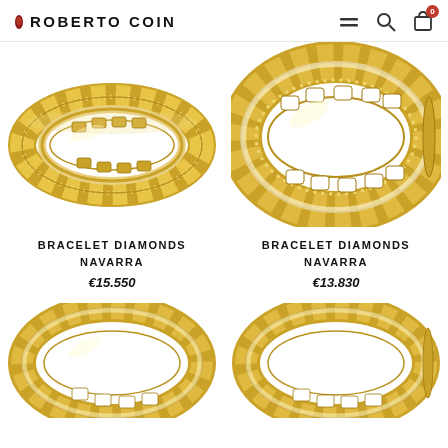ROBERTO COIN
[Figure (photo): Gold chain-link bracelet ring with diamond accents - Bracelet Diamonds Navarra]
[Figure (photo): Wide gold chain-link bangle bracelet with diamond accents - Bracelet Diamonds Navarra]
BRACELET DIAMONDS NAVARRA
€15.550
BRACELET DIAMONDS NAVARRA
€13.830
[Figure (photo): Partial view of gold chain-link bracelet - bottom of page]
[Figure (photo): Partial view of gold chain-link bracelet - bottom of page right]